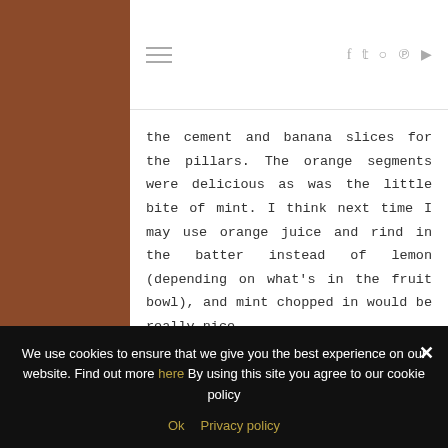≡   f  t  ○  ℗  ▶
the cement and banana slices for the pillars. The orange segments were delicious as was the little bite of mint. I think next time I may use orange juice and rind in the batter instead of lemon (depending on what's in the fruit bowl), and mint chopped in would be really nice.
Also, because they are pancakes and invite a bit of decadence, a small splash of maple syrup is really a lovely addition but totally
We use cookies to ensure that we give you the best experience on our website. Find out more here By using this site you agree to our cookie policy
Ok   Privacy policy